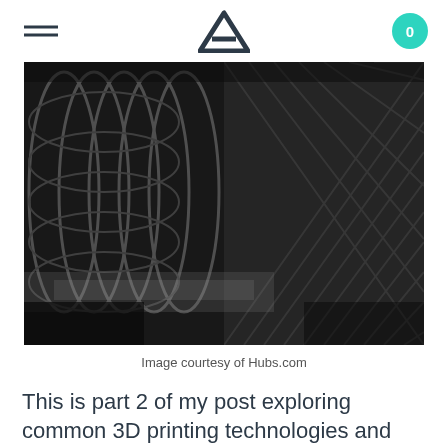Menu | Logo | Cart (0)
[Figure (photo): Close-up black and white photograph of 3D printed lattice/mesh structures with interlocking geometric patterns]
Image courtesy of Hubs.com
This is part 2 of my post exploring common 3D printing technologies and materials. As we